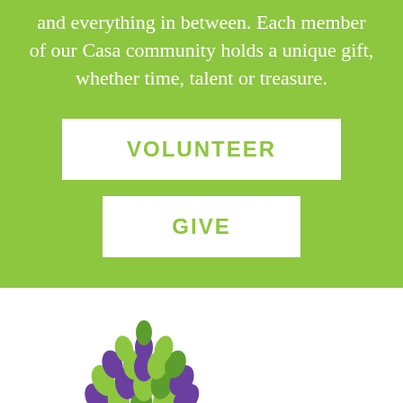and everything in between. Each member of our Casa community holds a unique gift, whether time, talent or treasure.
VOLUNTEER
GIVE
[Figure (logo): Colorful leaf cluster logo in green and purple tones, partially visible at bottom of page]